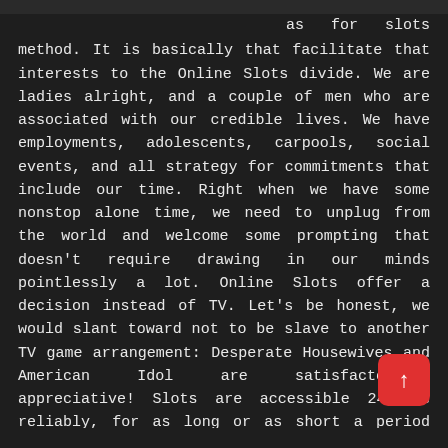as for slots method. It is basically that facilitate that interests to the Online Slots divide. We are ladies alright, and a couple of men who are associated with our credible lives. We have employments, adolescents, carpools, social events, and all strategy for commitments that include our time. Right when we have some nonstop alone time, we need to unplug from the world and welcome some prompting that doesn't require drawing in our minds pointlessly a lot. Online Slots offer a decision instead of TV. Let's be honest, we would slant toward not to be slave to another TV game arrangement: Desperate Housewives and American Idol are satisfactorily, appreciative! Slots are accessible 24 hrs reliably, for as long or as short a period assignment as we pick.